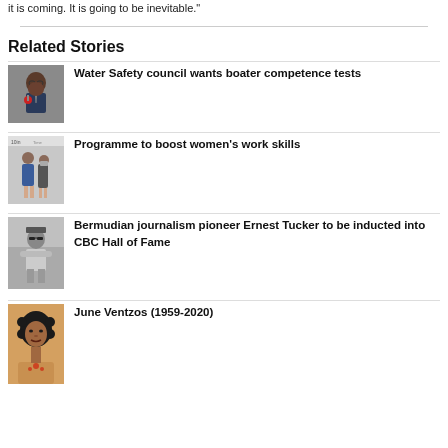it is coming. It is going to be inevitable."
Related Stories
Water Safety council wants boater competence tests
Programme to boost women’s work skills
Bermudian journalism pioneer Ernest Tucker to be inducted into CBC Hall of Fame
June Ventzos (1959-2020)